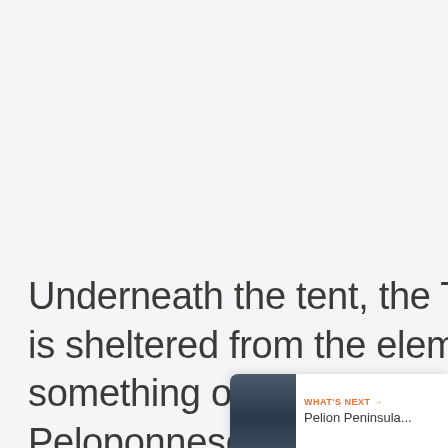Underneath the tent, the Temple of Apollo Epicurius is sheltered from the elements. Visiting here was something of an unexpected highlight of our Peloponnese road trip, and I would recommend anyone else planning a trip in the
[Figure (other): What's Next widget showing a thumbnail image (dark landscape/seascape) with orange label 'WHAT'S NEXT →' and text 'Pelion Peninsula...']